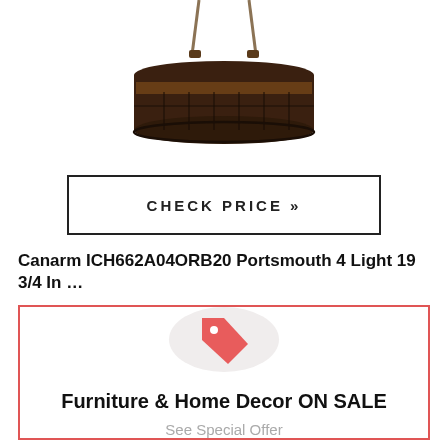[Figure (photo): Industrial drum pendant light fixture with dark metal cage and rope hanging hardware, cropped at top]
CHECK PRICE »
Canarm ICH662A04ORB20 Portsmouth 4 Light 19 3/4 In …
[Figure (infographic): Promotional box with red border containing a price tag icon in a gray circle, heading 'Furniture & Home Decor ON SALE', and subtext 'See Special Offer']